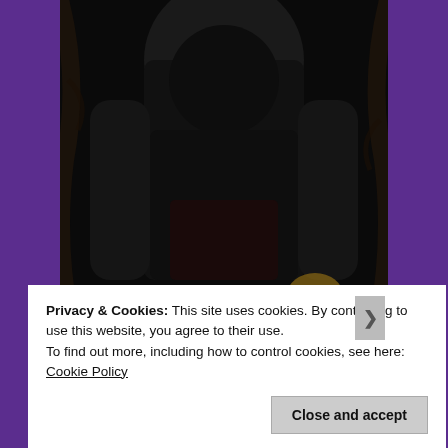[Figure (photo): Book cover showing a dark figure in black with red stylized text reading 'JOSH' and partial red text below (author name), on a black background. A glowing blue/white element is visible at lower right of the cover.]
Privacy & Cookies: This site uses cookies. By continuing to use this website, you agree to their use.
To find out more, including how to control cookies, see here: Cookie Policy
Close and accept